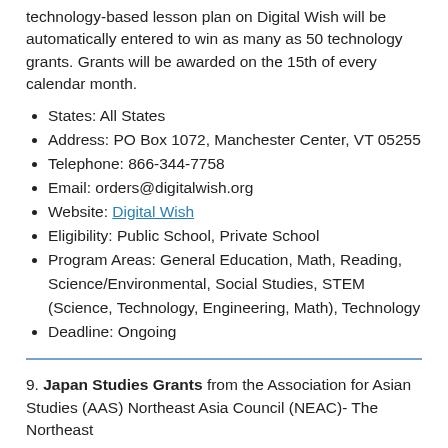technology-based lesson plan on Digital Wish will be automatically entered to win as many as 50 technology grants. Grants will be awarded on the 15th of every calendar month.
States: All States
Address: PO Box 1072, Manchester Center, VT 05255
Telephone: 866-344-7758
Email: orders@digitalwish.org
Website: Digital Wish
Eligibility: Public School, Private School
Program Areas: General Education, Math, Reading, Science/Environmental, Social Studies, STEM (Science, Technology, Engineering, Math), Technology
Deadline: Ongoing
9. Japan Studies Grants from the Association for Asian Studies (AAS) Northeast Asia Council (NEAC)- The Northeast